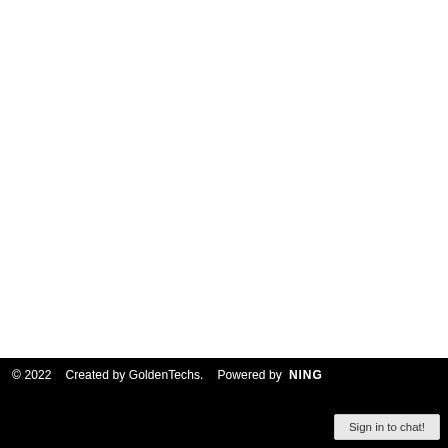© 2022   Created by GoldenTechs.   Powered by  NING
Sign in to chat!